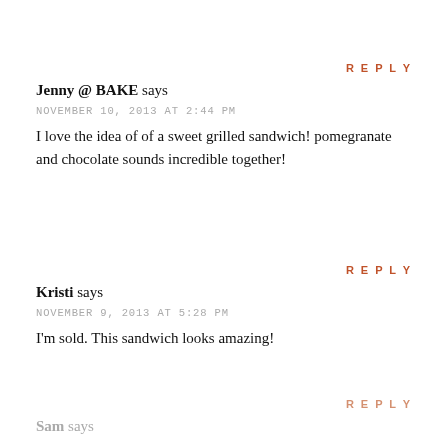Jenny @ BAKE says
NOVEMBER 10, 2013 AT 2:44 PM
I love the idea of of a sweet grilled sandwich! pomegranate and chocolate sounds incredible together!
REPLY
Kristi says
NOVEMBER 9, 2013 AT 5:28 PM
I'm sold. This sandwich looks amazing!
REPLY
Sam says
REPLY